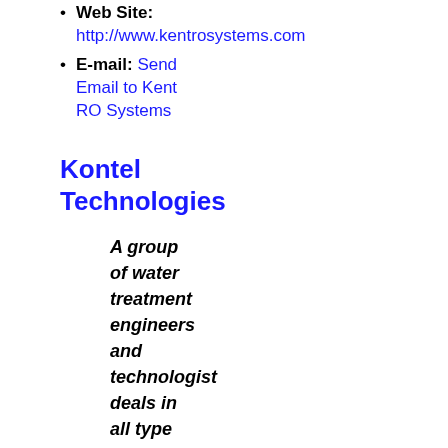Web Site: http://www.kentrosystems.com
E-mail: Send Email to Kent RO Systems
Kontel Technologies
A group of water treatment engineers and technologist deals in all type of water filtration, R.O. Plants and purification